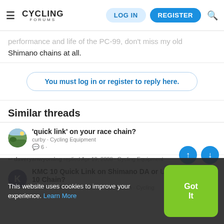Cycling Forums — LOG IN | REGISTER
performance and life of the PC-99, don't miss my old Shimano chains at all.
You must log in or register to reply here.
Similar threads
'quick link' on your race chain? | curby · Cycling Equipment | 6 replies
daveryanwyoming replied Apr 19, 2008 · Cycling Equipment
KMC 10 Quick Link on Shimano DA or Ultegra 10 Chain? | KnowWhen2HoldemKnowWhen2Foldem · Cycling
This website uses cookies to improve your experience. Learn More